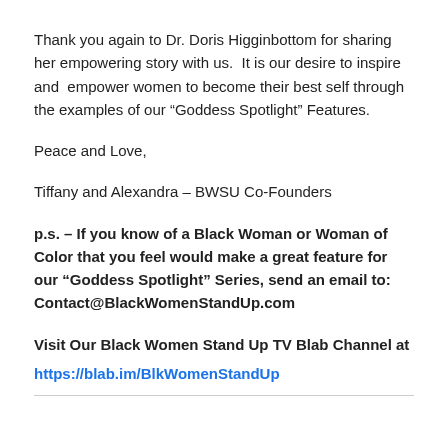Thank you again to Dr. Doris Higginbottom for sharing her empowering story with us.  It is our desire to inspire and  empower women to become their best self through the examples of our “Goddess Spotlight” Features.
Peace and Love,
Tiffany and Alexandra – BWSU Co-Founders
p.s. – If you know of a Black Woman or Woman of Color that you feel would make a great feature for our “Goddess Spotlight” Series, send an email to: Contact@BlackWomenStandUp.com
Visit Our Black Women Stand Up TV Blab Channel at https://blab.im/BlkWomenStandUp